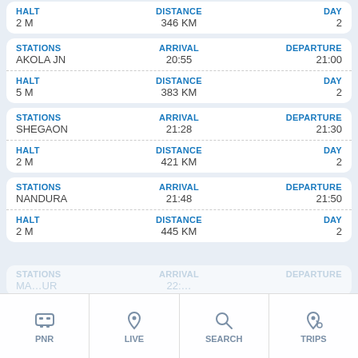| HALT | DISTANCE | DAY |
| --- | --- | --- |
| 2 M | 346 KM | 2 |
| STATIONS | ARRIVAL | DEPARTURE |
| --- | --- | --- |
| AKOLA JN | 20:55 | 21:00 |
| HALT: 5 M | DISTANCE: 383 KM | DAY: 2 |
| STATIONS | ARRIVAL | DEPARTURE |
| --- | --- | --- |
| SHEGAON | 21:28 | 21:30 |
| HALT: 2 M | DISTANCE: 421 KM | DAY: 2 |
| STATIONS | ARRIVAL | DEPARTURE |
| --- | --- | --- |
| NANDURA | 21:48 | 21:50 |
| HALT: 2 M | DISTANCE: 445 KM | DAY: 2 |